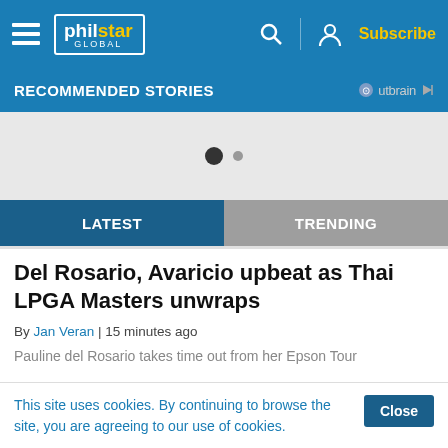philstar GLOBAL — Subscribe
RECOMMENDED STORIES
[Figure (other): Carousel pagination dots — one filled black dot and one smaller grey dot]
LATEST | TRENDING
Del Rosario, Avaricio upbeat as Thai LPGA Masters unwraps
By Jan Veran | 15 minutes ago
Pauline del Rosario takes time out from her Epson Tour
This site uses cookies. By continuing to browse the site, you are agreeing to our use of cookies.